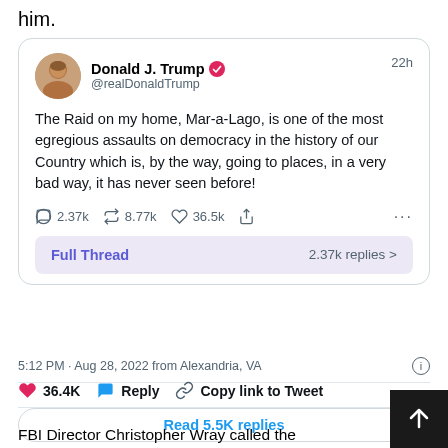him.
[Figure (screenshot): Screenshot of a tweet by Donald J. Trump (@realDonaldTrump) posted 22h ago reading: 'The Raid on my home, Mar-a-Lago, is one of the most egregious assaults on democracy in the history of our Country which is, by the way, going to places, in a very bad way, it has never seen before!' with 2.37k replies, 8.77k retweets, 36.5k likes, and a Full Thread button showing 2.37k replies.]
5:12 PM · Aug 28, 2022 from Alexandria, VA
36.4K   Reply   Copy link to Tweet
Read 5.5K replies
FBI Director Christopher Wray called the